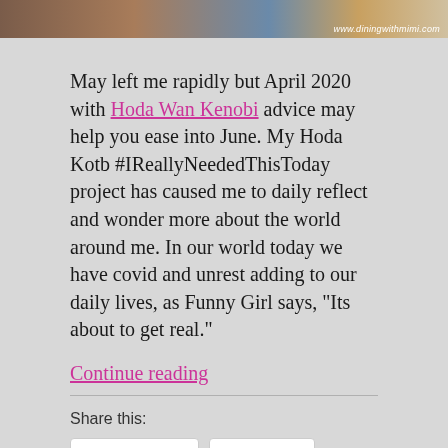[Figure (photo): Partial image at top of page with watermark text www.diningwithmimi.com]
May left me rapidly but April 2020 with Hoda Wan Kenobi advice may help you ease into June. My Hoda Kotb #IReallyNeededThisToday project has caused me to daily reflect and wonder more about the world around me. In our world today we have covid and unrest adding to our daily lives, as Funny Girl says, “Its about to get real.”
Continue reading
Share this:
Facebook
Twitter
Pinterest
Email
Print